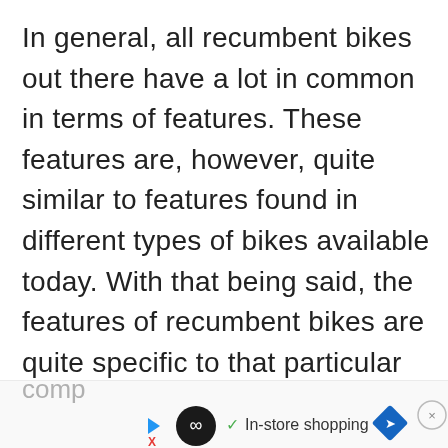In general, all recumbent bikes out there have a lot in common in terms of features. These features are, however, quite similar to features found in different types of bikes available today. With that being said, the features of recumbent bikes are quite specific to that particular bike. So before purchasing a brand new recumbent bike, there are some things that you should know about them. That is why we have written this comp[rehensive guide...]
[Figure (other): Advertisement bar at bottom of page showing a looping/infinity icon in a black circle, a checkmark with 'In-store shopping' text, a blue diamond navigation icon, and a close button (X in circle). Also shows partially visible text 'comp' from the article above the ad bar, and small play/X icons on the left.]